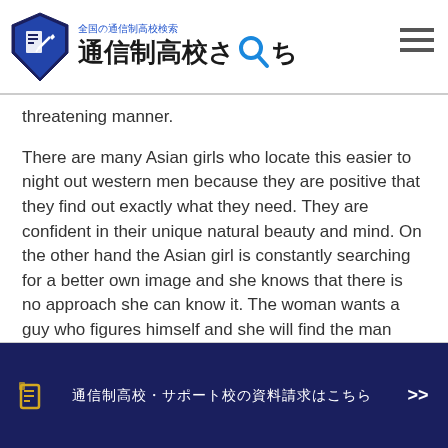全国の通信制高校検索 通信制高校さーち
threatening manner.
There are many Asian girls who locate this easier to night out western men because they are positive that they find out exactly what they need. They are confident in their unique natural beauty and mind. On the other hand the Asian girl is constantly searching for a better own image and she knows that there is no approach she can know it. The woman wants a guy who figures himself and she will find the man exactly who values her. You might feel that this is convenient, but it usually takes commitment to do this. Finding a very good Asian female is not easy, but it surely is possible.
📋　通信制高校・サポート校の資料請求はこちら　>>